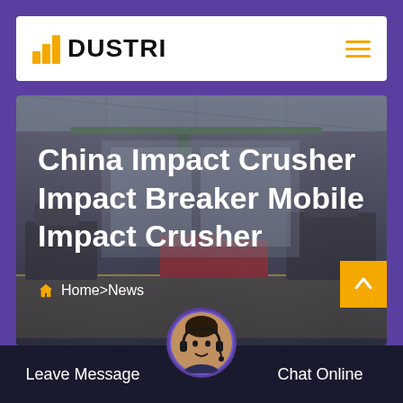[Figure (logo): DUSTRI logo with yellow bar chart icon and bold text]
[Figure (photo): Industrial factory floor with heavy machinery, overhead cranes, and workers]
China Impact Crusher Impact Breaker Mobile Impact Crusher
Home>News
Leave Message | Chat Online